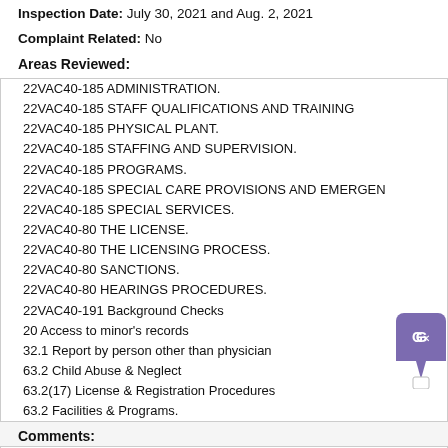Inspection Date: July 30, 2021 and Aug. 2, 2021
Complaint Related: No
Areas Reviewed:
22VAC40-185 ADMINISTRATION.
22VAC40-185 STAFF QUALIFICATIONS AND TRAINING
22VAC40-185 PHYSICAL PLANT.
22VAC40-185 STAFFING AND SUPERVISION.
22VAC40-185 PROGRAMS.
22VAC40-185 SPECIAL CARE PROVISIONS AND EMERGEN
22VAC40-185 SPECIAL SERVICES.
22VAC40-80 THE LICENSE.
22VAC40-80 THE LICENSING PROCESS.
22VAC40-80 SANCTIONS.
22VAC40-80 HEARINGS PROCEDURES.
22VAC40-191 Background Checks
20 Access to minor's records
32.1 Report by person other than physician
63.2 Child Abuse & Neglect
63.2(17) License & Registration Procedures
63.2 Facilities & Programs.
Comments:
This inspection was conducted by licensing staff using